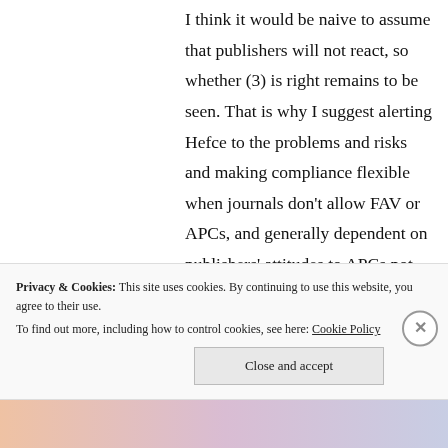I think it would be naive to assume that publishers will not react, so whether (3) is right remains to be seen. That is why I suggest alerting Hefce to the problems and risks and making compliance flexible when journals don't allow FAV or APCs, and generally dependent on publishers' attitudes to APCs not changing. I have been told that
Privacy & Cookies: This site uses cookies. By continuing to use this website, you agree to their use. To find out more, including how to control cookies, see here: Cookie Policy
Close and accept